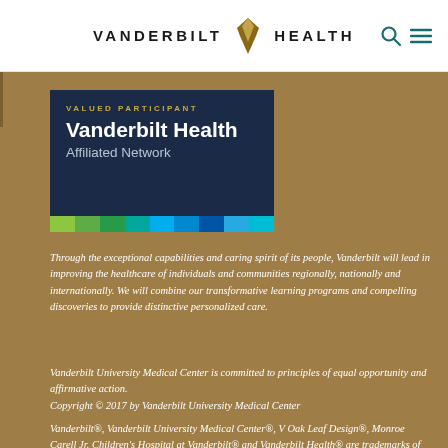VANDERBILT HEALTH
[Figure (logo): Vanderbilt Health Affiliated Network valued participant badge — dark navy background with text 'VALUED PARTICIPANT', 'Vanderbilt Health', 'Affiliated Network', and colored stripe bar at bottom (green to blue gradient segments).]
Through the exceptional capabilities and caring spirit of its people, Vanderbilt will lead in improving the healthcare of individuals and communities regionally, nationally and internationally. We will combine our transformative learning programs and compelling discoveries to provide distinctive personalized care.
Vanderbilt University Medical Center is committed to principles of equal opportunity and affirmative action.
Copyright © 2017 by Vanderbilt University Medical Center
Vanderbilt®, Vanderbilt University Medical Center®, V Oak Leaf Design®, Monroe Carell Jr. Children's Hospital at Vanderbilt® and Vanderbilt Health® are trademarks of The Vanderbilt University